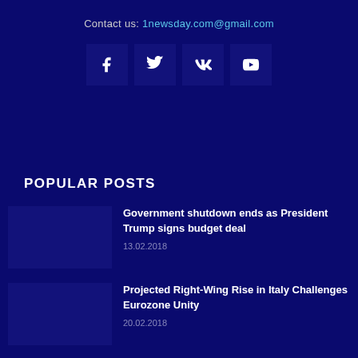Contact us: 1newsday.com@gmail.com
[Figure (infographic): Social media icons: Facebook (f), Twitter (bird), VK (VK), YouTube (play button)]
POPULAR POSTS
Government shutdown ends as President Trump signs budget deal — 13.02.2018
Projected Right-Wing Rise in Italy Challenges Eurozone Unity — 20.02.2018